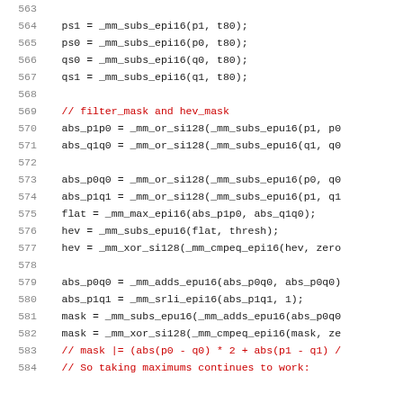Source code lines 563-584 showing C/intrinsics code for VP8 loop filter using SSE2 intrinsics.